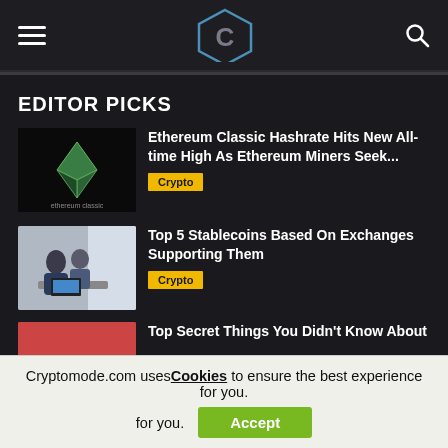CryptoMode header with hamburger menu, logo, and search icon
EDITOR PICKS
[Figure (illustration): Ethereum Classic logo on black background with green diamond icon and ethereum text]
Ethereum Classic Hashrate Hits New All-time High As Ethereum Miners Seek...
Crypto
[Figure (photo): Two people in business attire looking at a laptop at a table near a window]
Top 5 Stablecoins Based On Exchanges Supporting Them
Crypto
[Figure (photo): Partial image of a third article thumbnail]
Top Secret Things You Didn't Know About
Cryptomode.com uses Cookies to ensure the best experience for you.